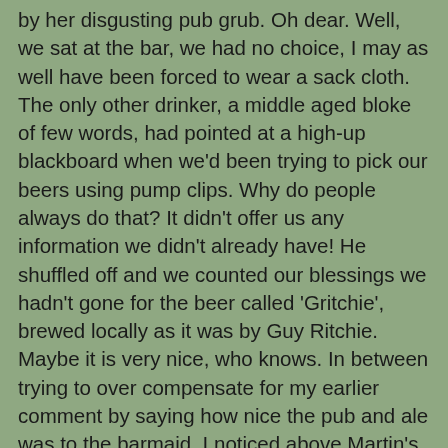by her disgusting pub grub.  Oh dear.  Well, we sat at the bar, we had no choice, I may as well have been forced to wear a sack cloth.  The only other drinker, a middle aged bloke of few words, had pointed at a high-up blackboard when we'd been trying to pick our beers using pump clips.  Why do people always do that?  It didn't offer us any information we didn't already have!  He shuffled off and we counted our blessings we hadn't gone for the beer called 'Gritchie', brewed locally as it was by Guy Ritchie.  Maybe it is very nice, who knows.  In between trying to over compensate for my earlier comment by saying how nice the pub and ale was to the barmaid, I noticed above Martin's head it said "Look Up!"  A long thin chimney going up miles, with two huge spiders in it!  "Wow, are they real?" I asked, jokingly, but she claimed one of them, the closest one, was once a real tarantula.  I'm calling bullshit on that, it practically had a drawn on smiley face, but I didn't tell her at the time.  Martin went off the explore the local food shop and post office attached to the left of the pub.  A nice lady walked in with the biggest lump of cheese I'd ever seen.  "Wow, that is the biggest lump of cheese I've ever seen" I told her.  She told me she had much bigger lumps of cheese.  I told her I